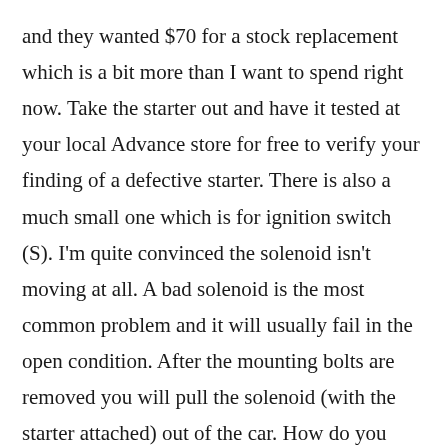and they wanted $70 for a stock replacement which is a bit more than I want to spend right now. Take the starter out and have it tested at your local Advance store for free to verify your finding of a defective starter. There is also a much small one which is for ignition switch (S). I'm quite convinced the solenoid isn't moving at all. A bad solenoid is the most common problem and it will usually fail in the open condition. After the mounting bolts are removed you will pull the solenoid (with the starter attached) out of the car. How do you take apart a starter solenoid? Part 2 of 2: Test the starter. When a solenoid valve (also called an electric valve or automatic sprinkler valve) fails to